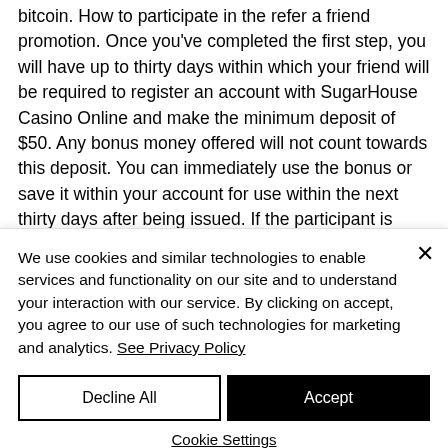bitcoin. How to participate in the refer a friend promotion. Once you've completed the first step, you will have up to thirty days within which your friend will be required to register an account with SugarHouse Casino Online and make the minimum deposit of $50. Any bonus money offered will not count towards this deposit. You can immediately use the bonus or save it within your account for use within the next thirty days after being issued. If the participant is usually never...
We use cookies and similar technologies to enable services and functionality on our site and to understand your interaction with our service. By clicking on accept, you agree to our use of such technologies for marketing and analytics. See Privacy Policy
Decline All
Accept
Cookie Settings